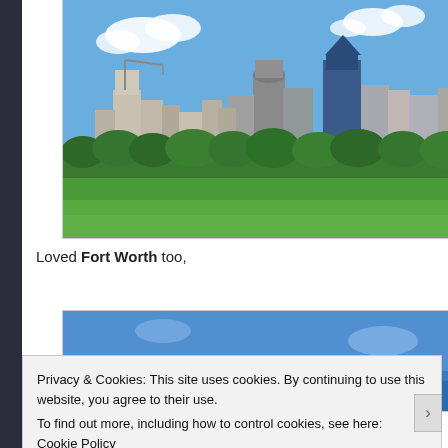[Figure (photo): City skyline photograph showing downtown buildings with green trees and grass in foreground under blue sky with clouds]
Loved Fort Worth too,
[Figure (photo): Partially visible photograph with blue sky background]
Privacy & Cookies: This site uses cookies. By continuing to use this website, you agree to their use.
To find out more, including how to control cookies, see here: Cookie Policy
Close and accept